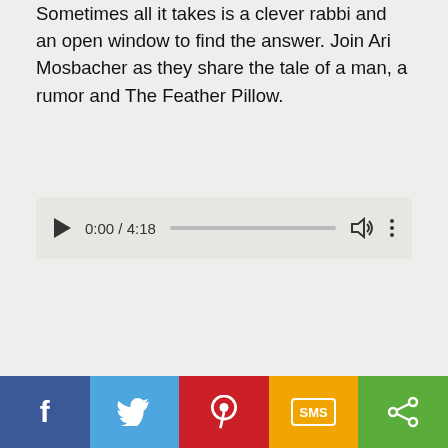Sometimes all it takes is a clever rabbi and an open window to find the answer. Join Ari Mosbacher as they share the tale of a man, a rumor and The Feather Pillow.
[Figure (other): Audio player UI showing play button, time 0:00 / 4:18, progress bar, volume icon, and options dots]
[Figure (other): Pagination controls showing page 1 (active/blue), page 2, next arrow, and Last double-arrow buttons]
[Figure (other): Partial sidebar box with text beginning 'Si...' visible at bottom]
[Figure (other): Social share bar with Facebook, Twitter, Pinterest, SMS, and Share buttons]